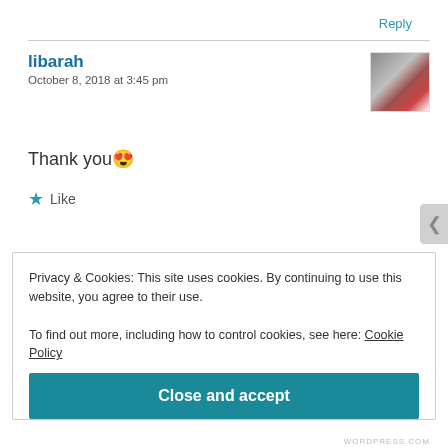Reply
libarah
October 8, 2018 at 3:45 pm
[Figure (photo): Small avatar thumbnail showing a person with a red heart graphic]
Thank you 😍
★ Like
Privacy & Cookies: This site uses cookies. By continuing to use this website, you agree to their use.
To find out more, including how to control cookies, see here: Cookie Policy
Close and accept